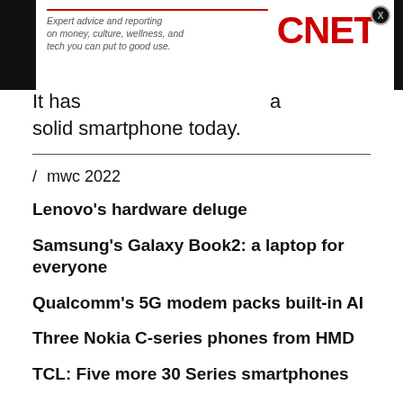[Figure (logo): CNET advertisement banner with logo and tagline 'Expert advice and reporting on money, culture, wellness, and tech you can put to good use.']
It has a solid smartphone today.
/ mwc 2022
Lenovo's hardware deluge
Samsung's Galaxy Book2: a laptop for everyone
Qualcomm's 5G modem packs built-in AI
Three Nokia C-series phones from HMD
TCL: Five more 30 Series smartphones
Huawei unveils smart office devices